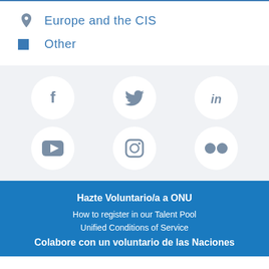Europe and the CIS
Other
[Figure (infographic): Six social media icons in circles on a light gray background: Facebook, Twitter, LinkedIn (top row), YouTube, Instagram, Flickr (bottom row)]
Hazte Voluntario/a a ONU
How to register in our Talent Pool
Unified Conditions of Service
Colabore con un voluntario de las Naciones